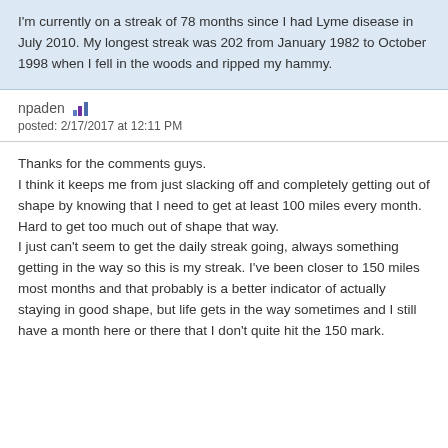I'm currently on a streak of 78 months since I had Lyme disease in July 2010. My longest streak was 202 from January 1982 to October 1998 when I fell in the woods and ripped my hammy.
npaden  posted: 2/17/2017 at 12:11 PM
Thanks for the comments guys.
I think it keeps me from just slacking off and completely getting out of shape by knowing that I need to get at least 100 miles every month.  Hard to get too much out of shape that way.
I just can't seem to get the daily streak going, always something getting in the way so this is my streak.  I've been closer to 150 miles most months and that probably is a better indicator of actually staying in good shape, but life gets in the way sometimes and I still have a month here or there that I don't quite hit the 150 mark.